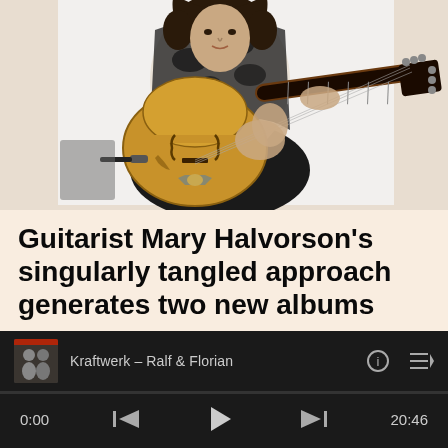[Figure (photo): A person with curly dark hair wearing a black and white patterned top and black vest, holding and playing a large hollow-body archtop acoustic guitar. The guitar is light brown/blonde colored. White background.]
Guitarist Mary Halvorson's singularly tangled approach generates two new albums
Kraftwerk – Ralf & Florian
0:00
20:46